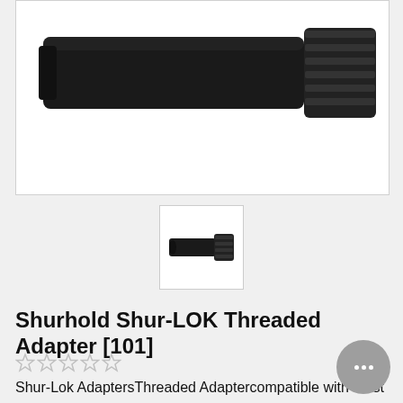[Figure (photo): Close-up photo of Shurhold Shur-LOK Threaded Adapter product, showing a black cylindrical adapter with threaded end, on white background]
[Figure (photo): Small thumbnail image of the Shurhold Shur-LOK Threaded Adapter showing the full product against a white background]
Shurhold Shur-LOK Threaded Adapter [101]
[Figure (other): Five empty/unfilled star rating icons indicating no rating]
Shur-Lok AdaptersThreaded Adaptercompatible with most